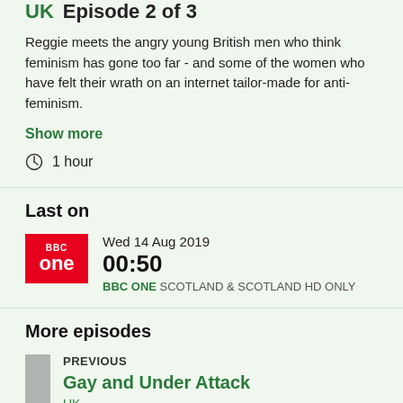UK  Episode 2 of 3
Reggie meets the angry young British men who think feminism has gone too far - and some of the women who have felt their wrath on an internet tailor-made for anti-feminism.
Show more
1 hour
Last on
Wed 14 Aug 2019 00:50 BBC ONE SCOTLAND & SCOTLAND HD ONLY
More episodes
PREVIOUS Gay and Under Attack UK